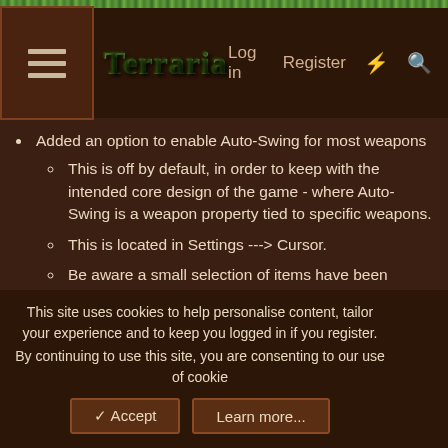Terraria wiki header with menu, logo, Log in, Register, lightning and search icons
Added an option to enable Auto-Swing for most weapons
This is off by default, in order to keep with the intended core design of the game - where Auto-Swing is a weapon property tied to specific weapons.
This is located in Settings ---> Cursor.
Be aware a small selection of items have been excluded to avoid potential significant disruptions in gameplay (ex. Rope coils, thrown flails, magic mirror, etc.). Auto-Swing on these items resulted in unintended issues.
Revised defaults for "Aim & Use" and "Smart Cursor" for a number of items/weapons.
This site uses cookies to help personalise content, tailor your experience and to keep you logged in if you register.
By continuing to use this site, you are consenting to our use of cookies.